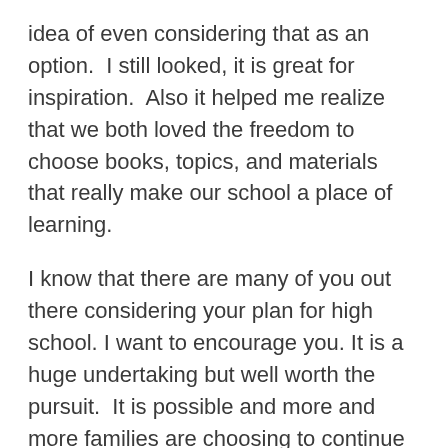idea of even considering that as an option.  I still looked, it is great for inspiration.  Also it helped me realize that we both loved the freedom to choose books, topics, and materials that really make our school a place of learning.
I know that there are many of you out there considering your plan for high school. I want to encourage you. It is a huge undertaking but well worth the pursuit.  It is possible and more and more families are choosing to continue homeschooling into high school. You can too!